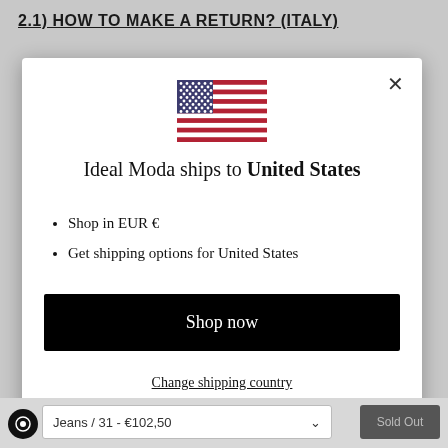2.1) HOW TO MAKE A RETURN? (ITALY)
[Figure (screenshot): A modal dialog popup showing a US flag, text 'Ideal Moda ships to United States', bullet points for shop in EUR and get shipping options, a Shop now button, and a Change shipping country link.]
Ideal Moda ships to United States
Shop in EUR €
Get shipping options for United States
Shop now
Change shipping country
Jeans / 31 - €102,50
Sold Out